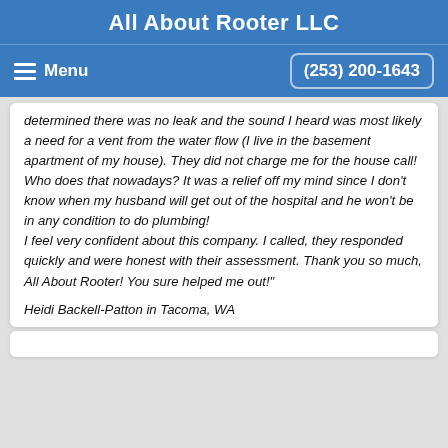All About Rooter LLC
Menu   (253) 200-1643
determined there was no leak and the sound I heard was most likely a need for a vent from the water flow (I live in the basement apartment of my house). They did not charge me for the house call! Who does that nowadays? It was a relief off my mind since I don't know when my husband will get out of the hospital and he won't be in any condition to do plumbing!
I feel very confident about this company. I called, they responded quickly and were honest with their assessment. Thank you so much, All About Rooter! You sure helped me out!"
Heidi Backell-Patton in Tacoma, WA